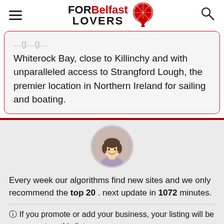FOR Belfast LOVERS
Whiterock Bay, close to Killinchy and with unparalleled access to Strangford Lough, the premier location in Northern Ireland for sailing and boating.
[Figure (illustration): Cartoon avatar of a woman with dark hair, smiling, wearing a purple top, displayed in a circular frame with grey background]
Every week our algorithms find new sites and we only recommend the top 20 . next update in 1072 minutes.
ⓘ If you promote or add your business, your listing will be permanent on this list.